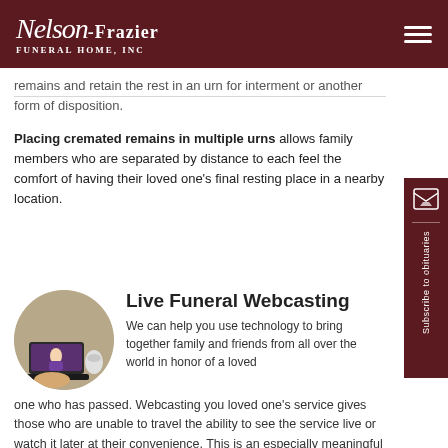Nelson-Frazier Funeral Home, Inc
remains and retain the rest in an urn for interment or another form of disposition.
Placing cremated remains in multiple urns allows family members who are separated by distance to each feel the comfort of having their loved one's final resting place in a nearby location.
[Figure (photo): Circular photo of a priest in purple vestments presenting at a laptop screen, with a smart speaker on a desk nearby]
Live Funeral Webcasting
We can help you use technology to bring together family and friends from all over the world in honor of a loved one who has passed. Webcasting you loved one's service gives those who are unable to travel the ability to see the service live or watch it later at their convenience. This is an especially meaningful solution